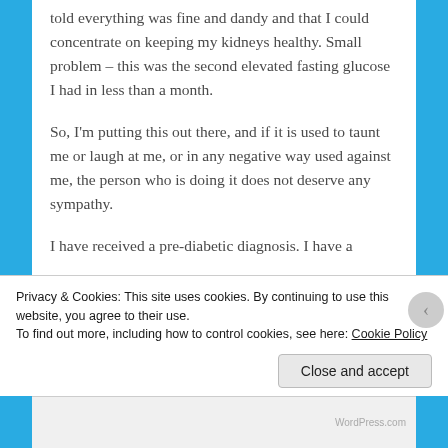told everything was fine and dandy and that I could concentrate on keeping my kidneys healthy. Small problem – this was the second elevated fasting glucose I had in less than a month.
So, I'm putting this out there, and if it is used to taunt me or laugh at me, or in any negative way used against me, the person who is doing it does not deserve any sympathy.
I have received a pre-diabetic diagnosis. I have a
Privacy & Cookies: This site uses cookies. By continuing to use this website, you agree to their use.
To find out more, including how to control cookies, see here: Cookie Policy